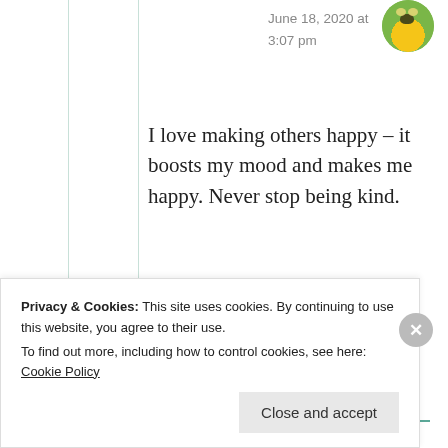[Figure (photo): Circular avatar image showing a bee on a yellow flower with green background, partially visible at top]
June 18, 2020 at 3:07 pm
I love making others happy – it boosts my mood and makes me happy. Never stop being kind.
★ Liked by 2 people
Privacy & Cookies: This site uses cookies. By continuing to use this website, you agree to their use. To find out more, including how to control cookies, see here: Cookie Policy Close and accept